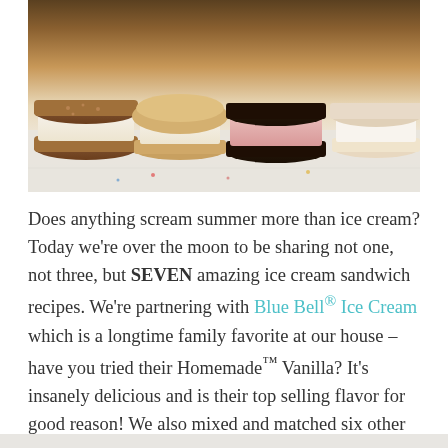[Figure (photo): A row of ice cream sandwiches on a light surface — various cookie types (graham cracker, chocolate wafer) with different ice cream flavors visible, shot from slightly above and in front.]
Does anything scream summer more than ice cream? Today we're over the moon to be sharing not one, not three, but SEVEN amazing ice cream sandwich recipes. We're partnering with Blue Bell® Ice Cream which is a longtime family favorite at our house – have you tried their Homemade™ Vanilla? It's insanely delicious and is their top selling flavor for good reason! We also mixed and matched six other tasty flavors, some classics that are available year-round, and others that are available for a limited time only so make sure to try them before they're sold out!